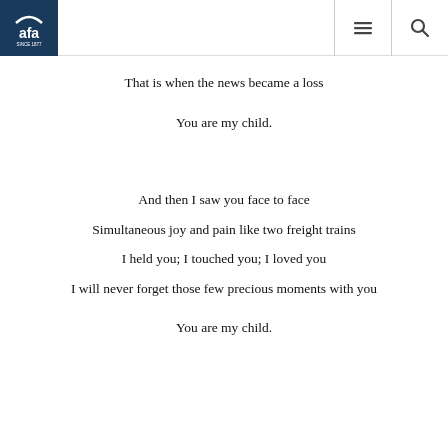AFA since 1877 | navigation menu | search
That is when the news became a loss
You are my child.
And then I saw you face to face
Simultaneous joy and pain like two freight trains
I held you; I touched you; I loved you
I will never forget those few precious moments with you
You are my child.